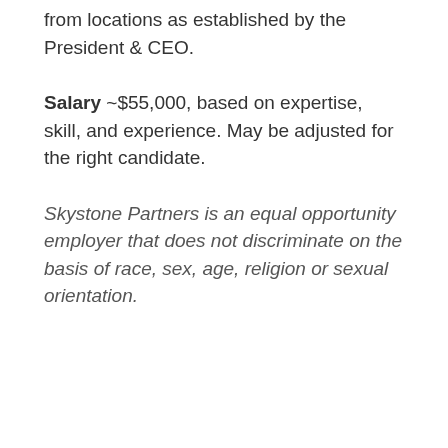from locations as established by the President & CEO.
Salary ~$55,000, based on expertise, skill, and experience. May be adjusted for the right candidate.
Skystone Partners is an equal opportunity employer that does not discriminate on the basis of race, sex, age, religion or sexual orientation.